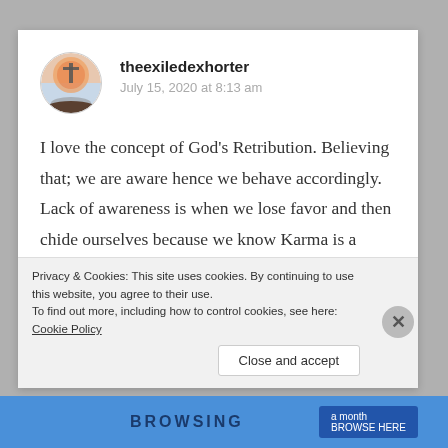theexiledexhorter
July 15, 2020 at 8:13 am
I love the concept of God’s Retribution. Believing that; we are aware hence we behave accordingly. Lack of awareness is when we lose favor and then chide ourselves because we know Karma is a double edged sword that slays the foolhardy and the
Privacy & Cookies: This site uses cookies. By continuing to use this website, you agree to their use.
To find out more, including how to control cookies, see here: Cookie Policy
Close and accept